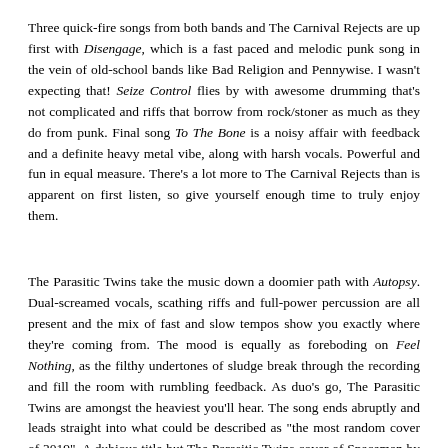Three quick-fire songs from both bands and The Carnival Rejects are up first with Disengage, which is a fast paced and melodic punk song in the vein of old-school bands like Bad Religion and Pennywise. I wasn't expecting that! Seize Control flies by with awesome drumming that's not complicated and riffs that borrow from rock/stoner as much as they do from punk. Final song To The Bone is a noisy affair with feedback and a definite heavy metal vibe, along with harsh vocals. Powerful and fun in equal measure. There's a lot more to The Carnival Rejects than is apparent on first listen, so give yourself enough time to truly enjoy them.
The Parasitic Twins take the music down a doomier path with Autopsy. Dual-screamed vocals, scathing riffs and full-power percussion are all present and the mix of fast and slow tempos show you exactly where they're coming from. The mood is equally as foreboding on Feel Nothing, as the filthy undertones of sludge break through the recording and fill the room with rumbling feedback. As duo's go, The Parasitic Twins are amongst the heaviest you'll hear. The song ends abruptly and leads straight into what could be described as "the most random cover of 2019". A dubious title but The Parasitic Twins cover of Spaceman by Babylon